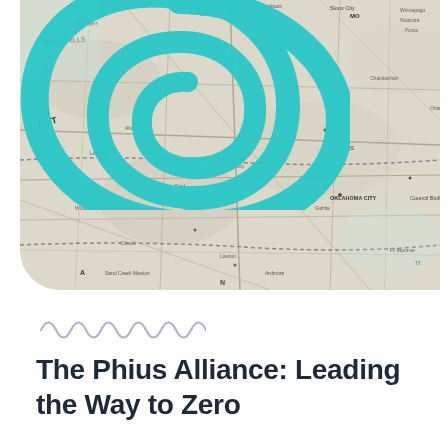[Figure (photo): A photograph of a paper road map showing the United States (partial), with city names, roads, and geographic features visible. A large teal/turquoise stylized spiral or 'at' symbol graphic is overlaid on the upper portion of the map. The map image has a rounded corner on the lower left.]
[Figure (illustration): A decorative wavy/squiggly line decoration in light purple/lavender color, resembling a handwritten wave pattern.]
The Phius Alliance: Leading the Way to Zero